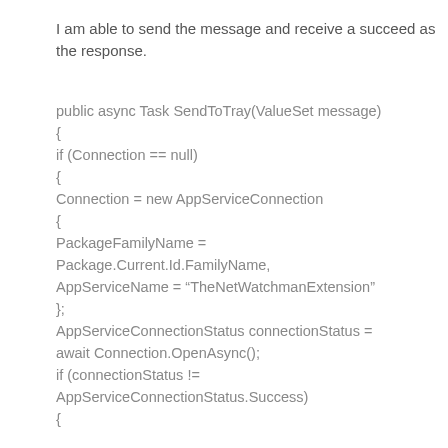I am able to send the message and receive a succeed as the response.
public async Task SendToTray(ValueSet message)
{
if (Connection == null)
{
Connection = new AppServiceConnection
{
PackageFamilyName =
Package.Current.Id.FamilyName,
AppServiceName = "TheNetWatchmanExtension"
};
AppServiceConnectionStatus connectionStatus =
await Connection.OpenAsync();
if (connectionStatus !=
AppServiceConnectionStatus.Success)
{